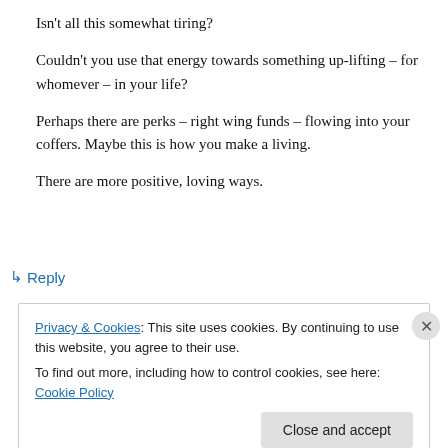Isn't all this somewhat tiring?
Couldn't you use that energy towards something up-lifting – for whomever – in your life?
Perhaps there are perks – right wing funds – flowing into your coffers. Maybe this is how you make a living.
There are more positive, loving ways.
↳ Reply
Privacy & Cookies: This site uses cookies. By continuing to use this website, you agree to their use.
To find out more, including how to control cookies, see here: Cookie Policy
Close and accept